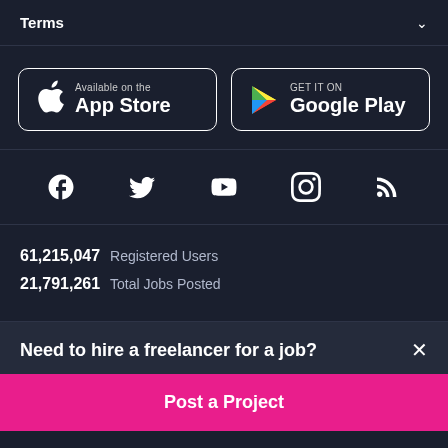Terms
[Figure (screenshot): App Store and Google Play download buttons]
[Figure (infographic): Social media icons: Facebook, Twitter, YouTube, Instagram, RSS]
61,215,047 Registered Users
21,791,261 Total Jobs Posted
Need to hire a freelancer for a job?
Post a Project